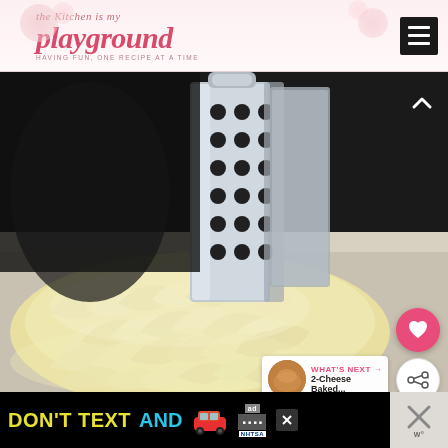the Kitchen is my playground — HAVING FUN, ONE RECIPE AT A TIME
[Figure (photo): Close-up photograph of freshly shredded white cheese piled up with a metal box grater visible in the background]
WHAT'S NEXT → 2-Cheese Baked...
[Figure (infographic): Advertisement banner: DON'T TEXT AND [car emoji] — NHTSA ad with ad badge and close buttons]